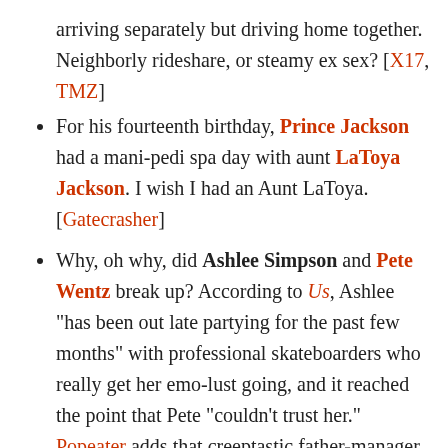arriving separately but driving home together. Neighborly rideshare, or steamy ex sex? [X17, TMZ]
For his fourteenth birthday, Prince Jackson had a mani-pedi spa day with aunt LaToya Jackson. I wish I had an Aunt LaToya. [Gatecrasher]
Why, oh why, did Ashlee Simpson and Pete Wentz break up? According to Us, Ashlee "has been out late partying for the past few months" with professional skateboarders who really get her emo-lust going, and it reached the point that Pete "couldn't trust her." Popeater adds that creeptastic father-manager Joe Simpson is probably to blame, too: "Joe likes being the only man in his daughters' lives and is happy that Ashlee has moved back into